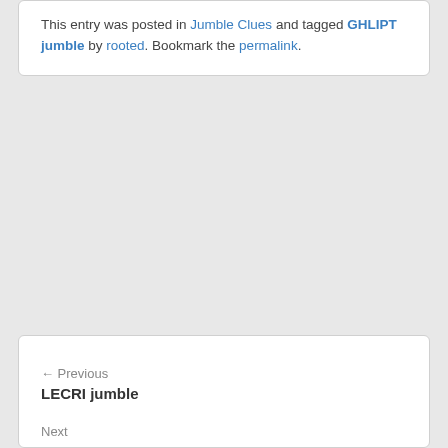This entry was posted in Jumble Clues and tagged GHLIPT jumble by rooted. Bookmark the permalink.
← Previous
LECRI jumble
Next